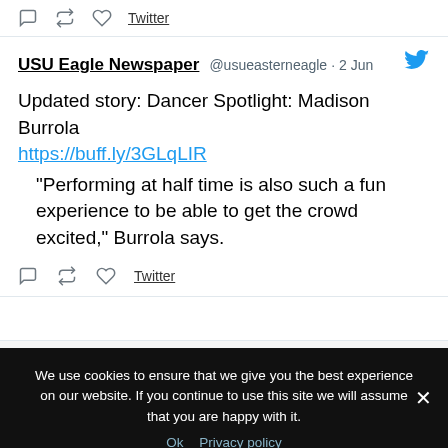[Figure (screenshot): Twitter/social media interface top bar with reply, retweet, heart icons and Twitter link]
Eagle
USU Eagle Newspaper @usueasterneagle · 2 Jun
Updated story: Dancer Spotlight: Madison Burrola https://buff.ly/3GLqLIR “Performing at half time is also such a fun experience to be able to get the crowd excited,” Burrola says.
[Figure (screenshot): Tweet action icons: reply, retweet, heart, and Twitter link]
Load More
We use cookies to ensure that we give you the best experience on our website. If you continue to use this site we will assume that you are happy with it.
Ok Privacy policy